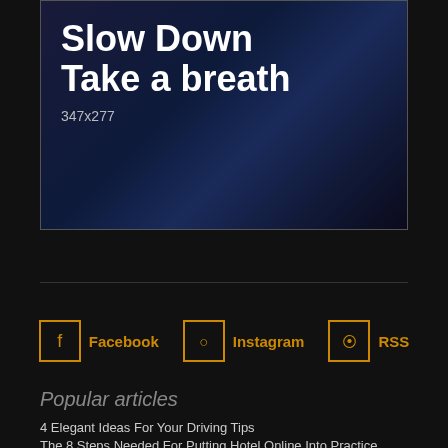[Figure (photo): Dark blue background image with text overlay reading 'Slow Down Take a breath' and dimension label '347x277']
Facebook
Instagram
RSS
Twitter
Popular articles
4 Elegant Ideas For Your Driving Tips
The 8 Steps Needed For Putting Hotel Online Into Practice